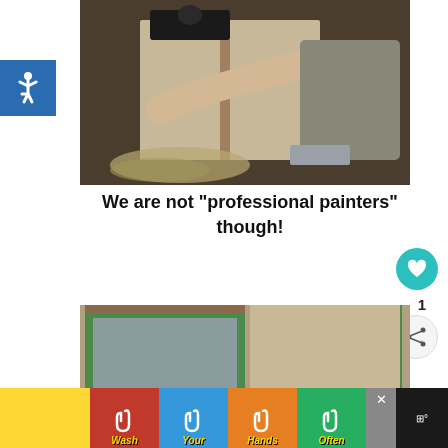[Figure (photo): Person reaching into or working on a piece of furniture/equipment, viewed from behind, with clutter on the floor]
[Figure (illustration): Blue square accessibility symbol (wheelchair icon)]
We are not "professional painters" though!
[Figure (photo): Bathroom being painted, with green painter's tape on mirror and wall edges]
[Figure (infographic): Ad banner: Wash Your Hands Often with colorful hand-washing icons in red, blue, orange, and green sections]